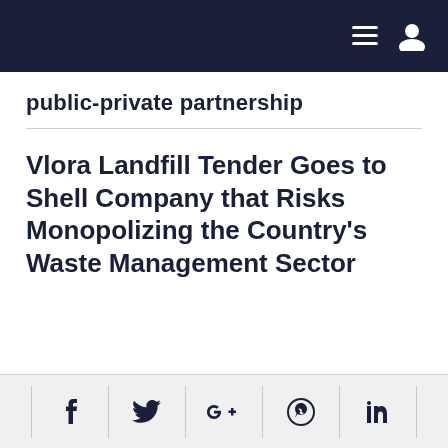navigation bar with hamburger menu and user icon
public-private partnership
Vlora Landfill Tender Goes to Shell Company that Risks Monopolizing the Country's Waste Management Sector
Social share icons: Facebook, Twitter, Google+, WhatsApp, LinkedIn